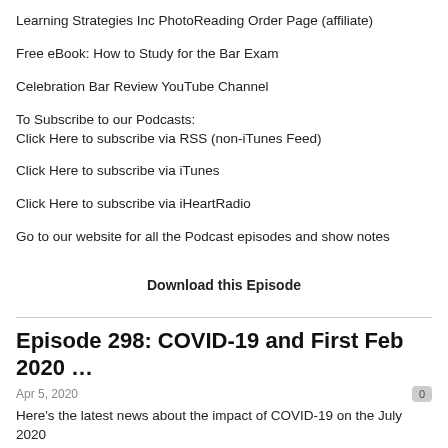Learning Strategies Inc PhotoReading Order Page (affiliate)
Free eBook: How to Study for the Bar Exam
Celebration Bar Review YouTube Channel
To Subscribe to our Podcasts:
Click Here to subscribe via RSS (non-iTunes Feed)
Click Here to subscribe via iTunes
Click Here to subscribe via iHeartRadio
Go to our website for all the Podcast episodes and show notes
Download this Episode
Episode 298: COVID-19 and First Feb 2020 …
Apr 5, 2020
Here's the latest news about the impact of COVID-19 on the July 2020 bar exam. Plus we look at the initial bar exam results for our early Feb 2020 …